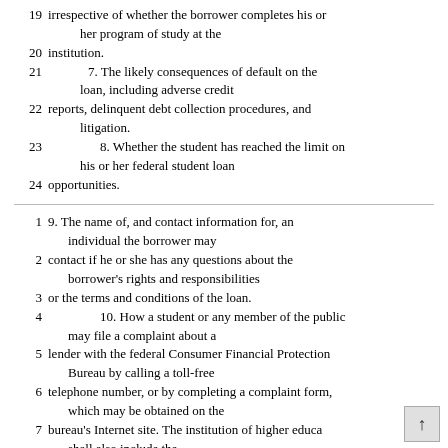19 irrespective of whether the borrower completes his or her program of study at the
20 institution.
21   7. The likely consequences of default on the loan, including adverse credit
22 reports, delinquent debt collection procedures, and litigation.
23   8. Whether the student has reached the limit on his or her federal student loan
24 opportunities.
1  9. The name of, and contact information for, an individual the borrower may
2  contact if he or she has any questions about the borrower's rights and responsibilities
3  or the terms and conditions of the loan.
4   10. How a student or any member of the public may file a complaint about a
5  lender with the federal Consumer Financial Protection Bureau by calling a toll-free
6  telephone number, or by completing a complaint form, which may be obtained on the
7  bureau's Internet site. The institution of higher educa shall also include the